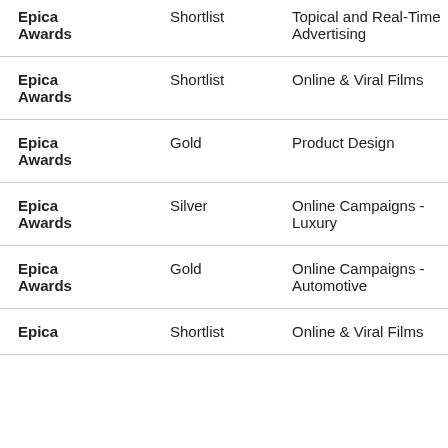| Award | Level | Category |  |
| --- | --- | --- | --- |
| Epica Awards | Shortlist | Topical and Real-Time Advertising |  |
| Epica Awards | Shortlist | Online & Viral Films |  |
| Epica Awards | Gold | Product Design |  |
| Epica Awards | Silver | Online Campaigns - Luxury |  |
| Epica Awards | Gold | Online Campaigns - Automotive |  |
| Epica | Shortlist | Online & Viral Films |  |